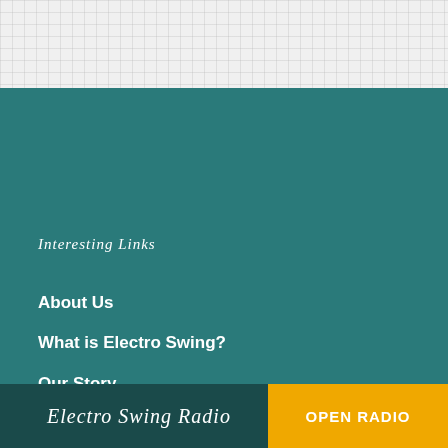[Figure (other): Grey grid/checkered background area at top of page]
Interesting Links
About Us
What is Electro Swing?
Our Story
Contact
News
Exclusive Tracks
Electro Swing Radio   OPEN RADIO